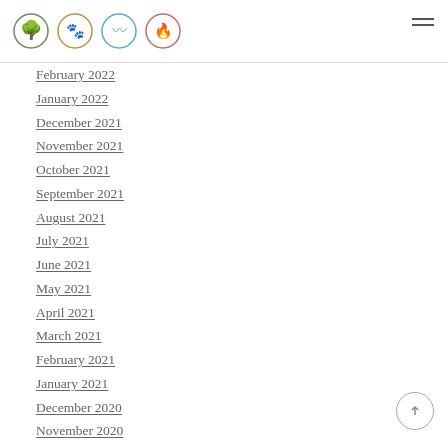Logo icons and navigation menu
February 2022
January 2022
December 2021
November 2021
October 2021
September 2021
August 2021
July 2021
June 2021
May 2021
April 2021
March 2021
February 2021
January 2021
December 2020
November 2020
October 2020
September 2020